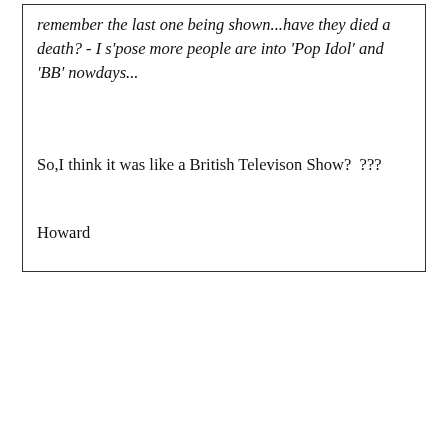remember the last one being shown...have they died a death? - I s'pose more people are into 'Pop Idol' and 'BB' nowdays...
So,I think it was like a British Televison Show?  ???
Howard